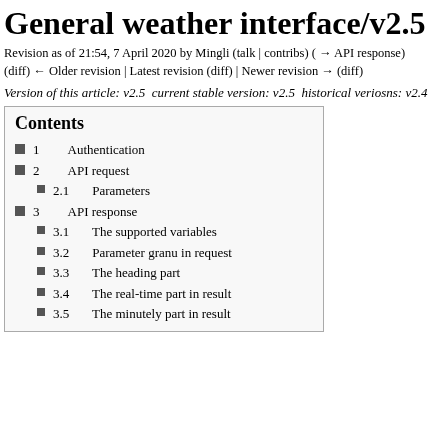General weather interface/v2.5
Revision as of 21:54, 7 April 2020 by Mingli (talk | contribs) ( → API response)
(diff) ← Older revision | Latest revision (diff) | Newer revision → (diff)
Version of this article: v2.5  current stable version: v2.5  historical veriosns: v2.4
Contents
1  Authentication
2  API request
2.1  Parameters
3  API response
3.1  The supported variables
3.2  Parameter granu in request
3.3  The heading part
3.4  The real-time part in result
3.5  The minutely part in result